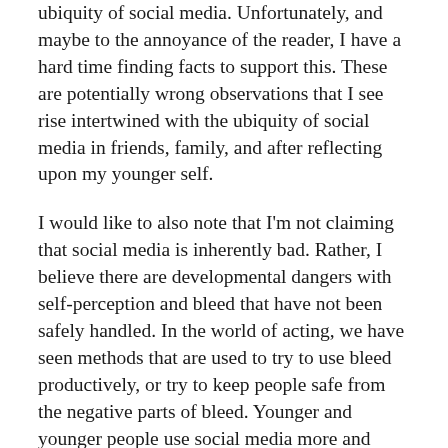ubiquity of social media. Unfortunately, and maybe to the annoyance of the reader, I have a hard time finding facts to support this. These are potentially wrong observations that I see rise intertwined with the ubiquity of social media in friends, family, and after reflecting upon my younger self.
I would like to also note that I'm not claiming that social media is inherently bad. Rather, I believe there are developmental dangers with self-perception and bleed that have not been safely handled. In the world of acting, we have seen methods that are used to try to use bleed productively, or try to keep people safe from the negative parts of bleed. Younger and younger people use social media more and more and the reality is that it is becoming harder and harder for parents to control what their children are being exposed to. As a result, I think looking into how bleed is handled in artistic capacities can also